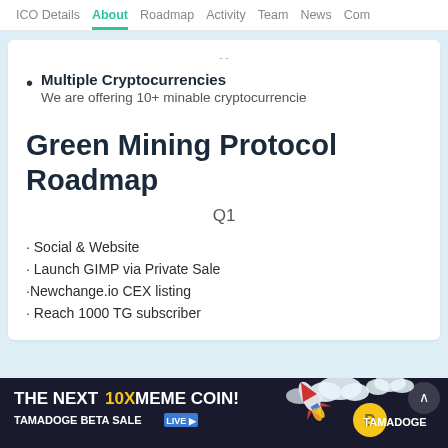ICO Details  About  Roadmap  Activity  Team  News  Com
--
Multiple Cryptocurrencies
We are offering 10+ minable cryptocurrencie
Green Mining Protocol Roadmap
Q1
Social & Website
Launch GIMP via Private Sale
Newchange.io CEX listing
Reach 1000 TG subscriber
[Figure (infographic): Advertisement banner: THE NEXT 10X MEME COIN! TAMADOGE BETA SALE LIVE. Features rocket, clouds, coin icon, and TAMADOGE logo.]